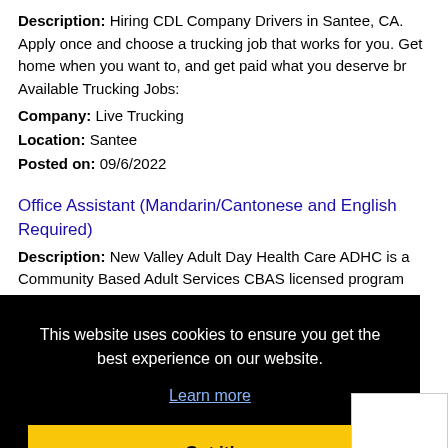Description: Hiring CDL Company Drivers in Santee, CA. Apply once and choose a trucking job that works for you. Get home when you want to, and get paid what you deserve br Available Trucking Jobs:
Company: Live Trucking
Location: Santee
Posted on: 09/6/2022
Office Assistant (Mandarin/Cantonese and English Required)
Description: New Valley Adult Day Health Care ADHC is a Community Based Adult Services CBAS licensed program
Company: New Valley Adult Day Health Care Center
This website uses cookies to ensure you get the best experience on our website. Learn more Got it!
Password: